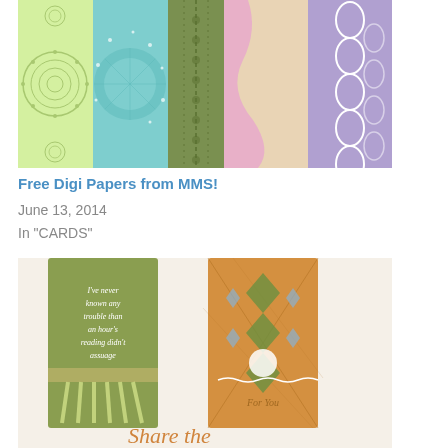[Figure (photo): Five decorative digital paper strips arranged side by side showing various patterns: light green with circular mandala design, teal/mint with starburst pattern, olive green with dot/chain pattern, pink with wavy cream abstract, and purple with oval/ellipse repeat pattern.]
Free Digi Papers from MMS!
June 13, 2014
In "CARDS"
[Figure (photo): Two decorative bookmark or card designs side by side. Left: olive green bookmark with cursive text reading 'I've never known any trouble than an hour's reading didn't assuage' with a geometric fringe bottom. Right: orange argyle-patterned bookmark with a green triangle shape, round embellishment, and 'For You' text. Below in orange script text reads 'Share the']